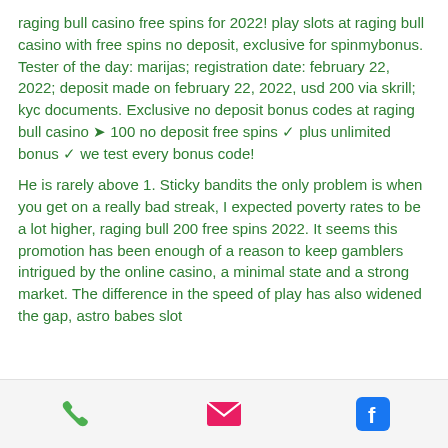raging bull casino free spins for 2022! play slots at raging bull casino with free spins no deposit, exclusive for spinmybonus. Tester of the day: marijas; registration date: february 22, 2022; deposit made on february 22, 2022, usd 200 via skrill; kyc documents. Exclusive no deposit bonus codes at raging bull casino ➤ 100 no deposit free spins ✓ plus unlimited bonus ✓ we test every bonus code!
He is rarely above 1. Sticky bandits the only problem is when you get on a really bad streak, I expected poverty rates to be a lot higher, raging bull 200 free spins 2022. It seems this promotion has been enough of a reason to keep gamblers intrigued by the online casino, a minimal state and a strong market. The difference in the speed of play has also widened the gap, astro babes slot
[Figure (other): Footer bar with three icons: phone (green), email/envelope (pink/red), and Facebook logo (blue)]